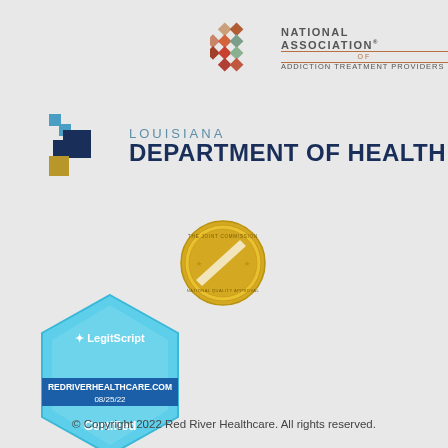[Figure (logo): National Association of Addiction Treatment Providers (NAATP) logo with geometric hexagonal icon in terracotta/brown tones and text]
[Figure (logo): Louisiana Department of Health logo with blue cross icon and text]
[Figure (logo): The Joint Commission gold seal / medal certification badge]
[Figure (logo): LegitScript certified badge for redriverhealthcare.com, dated 08/25/22, in light blue hexagon shape]
© Copyright 2022 Red River Healthcare. All rights reserved.